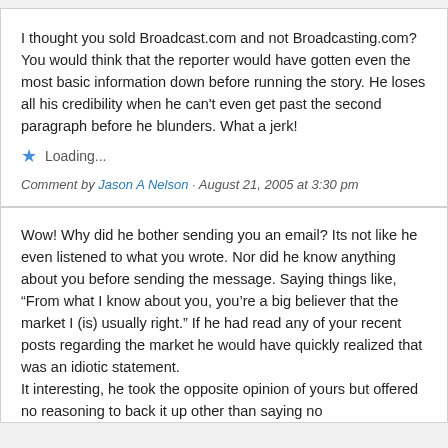I thought you sold Broadcast.com and not Broadcasting.com? You would think that the reporter would have gotten even the most basic information down before running the story. He loses all his credibility when he can't even get past the second paragraph before he blunders. What a jerk!
Loading...
Comment by Jason A Nelson · August 21, 2005 at 3:30 pm
Wow! Why did he bother sending you an email? Its not like he even listened to what you wrote. Nor did he know anything about you before sending the message. Saying things like, “From what I know about you, you’re a big believer that the market I (is) usually right.” If he had read any of your recent posts regarding the market he would have quickly realized that was an idiotic statement.
It interesting, he took the opposite opinion of yours but offered no reasoning to back it up other than saying no